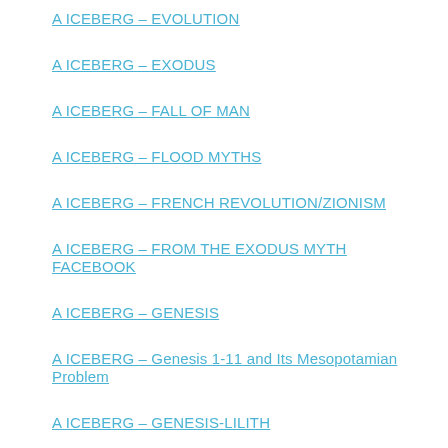A ICEBERG – EVOLUTION
A ICEBERG – EXODUS
A ICEBERG – FALL OF MAN
A ICEBERG – FLOOD MYTHS
A ICEBERG – FRENCH REVOLUTION/ZIONISM
A ICEBERG – FROM THE EXODUS MYTH FACEBOOK
A ICEBERG – GENESIS
A ICEBERG – Genesis 1-11 and Its Mesopotamian Problem
A ICEBERG – GENESIS-LILITH
A ICEBERG – Genesis Roots of the Abba-nated…